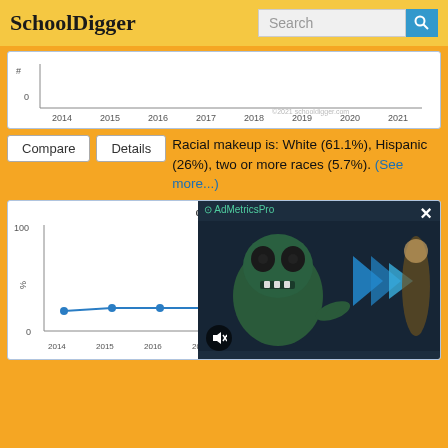SchoolDigger
[Figure (line-chart): Partial line chart showing enrollment from 2014 to 2021, y-axis labeled with # symbol, x-axis years 2014-2021, copyright 2021 schooldigger.com]
Racial makeup is: White (61.1%), Hispanic (26%), two or more races (5.7%). (See more...)
[Figure (line-chart): Partial line chart showing % Free/Reduced Lunch from 2014 to 2021, y-axis 0-100, data points around 25-30%, partially obscured by ad overlay]
[Figure (other): AdMetricsPro video ad overlay showing animated monster character with blue play button graphics, mute button, and close X button]